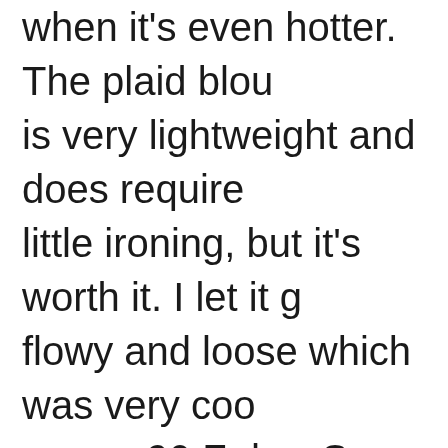when it's even hotter. The plaid blou is very lightweight and does require little ironing, but it's worth it. I let it g flowy and loose which was very coo a near 90 F day. So much for spring weather!
I wore and organic shaped deep charcoal necklace with it and felt dressed just right for a few errands.